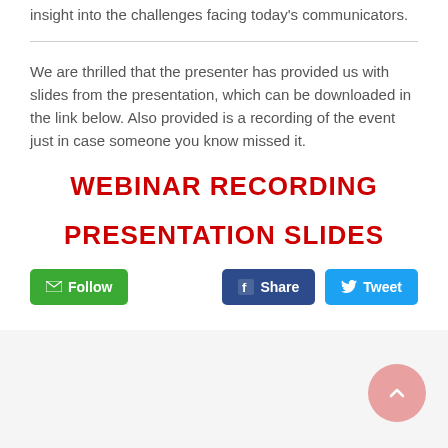insight into the challenges facing today's communicators.
We are thrilled that the presenter has provided us with slides from the presentation, which can be downloaded in the link below. Also provided is a recording of the event just in case someone you know missed it.
WEBINAR RECORDING
PRESENTATION SLIDES
[Figure (screenshot): Row of social buttons: green Follow button with envelope icon, dark blue Share button with Facebook icon, light blue Tweet button with Twitter bird icon]